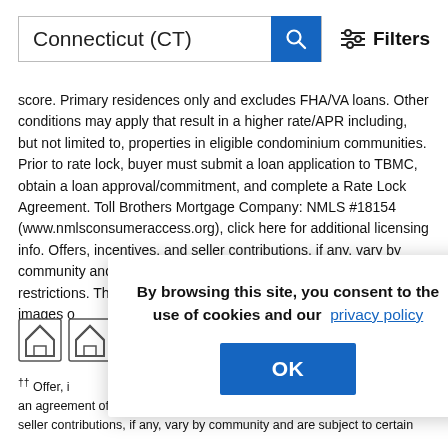Connecticut (CT)
score. Primary residences only and excludes FHA/VA loans. Other conditions may apply that result in a higher rate/APR including, but not limited to, properties in eligible condominium communities. Prior to rate lock, buyer must submit a loan application to TBMC, obtain a loan approval/commitment, and complete a Rate Lock Agreement. Toll Brothers Mortgage Company: NMLS #18154 (www.nmlsconsumeraccess.org), click here for additional licensing info. Offers, incentives, and seller contributions, if any, vary by community and are subject to certain terms, conditions, and restrictions. This is not an offering [os are images of ...eatures. Please c... 2022
[Figure (other): Cookie consent modal overlay with text: By browsing this site, you consent to the use of cookies and our privacy policy, and an OK button]
†† Offer, i... participa... 8/22, sign an agreement of sale, and close on the home. Offers, incentives, and seller contributions, if any, vary by community and are subject to certain terms conditions...